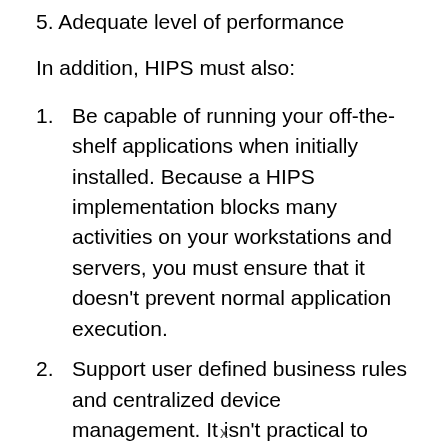5. Adequate level of performance
In addition, HIPS must also:
1. Be capable of running your off-the-shelf applications when initially installed. Because a HIPS implementation blocks many activities on your workstations and servers, you must ensure that it doesn’t prevent normal application execution.
2. Support user defined business rules and centralized device management. It isn’t practical to attempt management of hundreds of end user devices, for